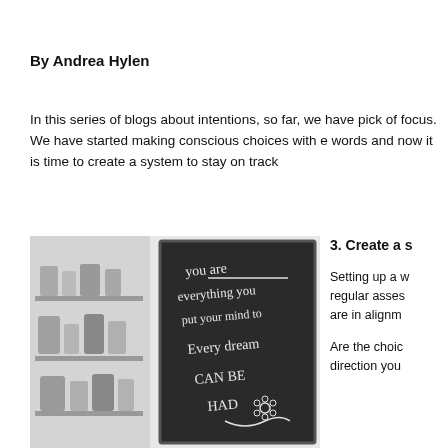By Andrea Hylen
In this series of blogs about intentions, so far, we have picked a focus. We have started making conscious choices with each words and now it is time to create a system to stay on track
[Figure (photo): Black and white photo of an open refrigerator with shelves containing bottles and jars, and a chalkboard on the door reading 'you are everything you put your mind to Every dream CAN BE HAD' with a flower doodle]
3. Create a s
Setting up a w regular asses are in alignm
Are the choic direction you